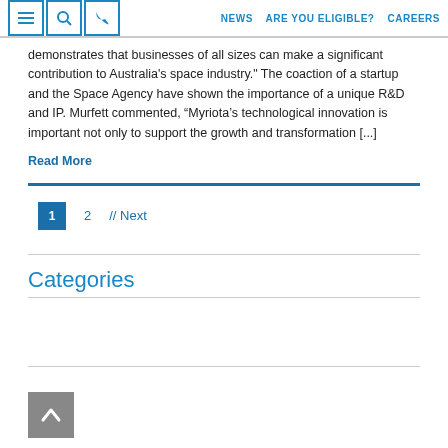NEWS  ARE YOU ELIGIBLE?  CAREERS
demonstrates that businesses of all sizes can make a significant contribution to Australia's space industry." The coaction of a startup and the Space Agency have shown the importance of a unique R&D and IP. Murfett commented, “Myriota’s technological innovation is important not only to support the growth and transformation [...]
Read More
1   2   // Next
Categories